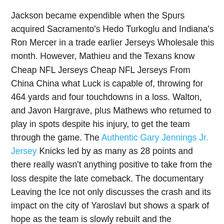Jackson became expendible when the Spurs acquired Sacramento's Hedo Turkoglu and Indiana's Ron Mercer in a trade earlier Jerseys Wholesale this month. However, Mathieu and the Texans know Cheap NFL Jerseys Cheap NFL Jerseys From China China what Luck is capable of, throwing for 464 yards and four touchdowns in a loss. Walton, and Javon Hargrave, plus Mathews who returned to play in spots despite his injury, to get the team through the game. The Authentic Gary Jennings Jr. Jersey Knicks led by as many as 28 points and there really wasn't anything positive to take from the loss despite the late comeback. The documentary Leaving the Ice not only discusses the crash and its impact on the city of Yaroslavl but shows a spark of hope as the team is slowly rebuilt and the community comes together to remember and honor those lost. I think it you want more. I was so happy for Dirk, Carlisle Cheap NFL Jerseys China said. That win came on